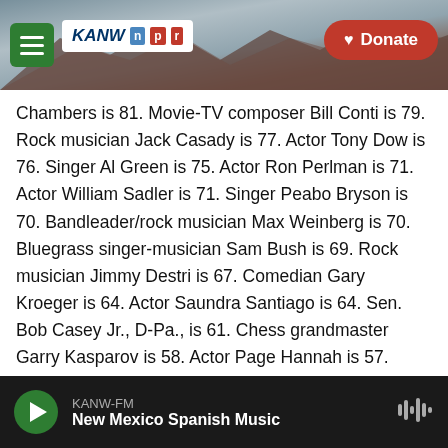KANW NPR — Donate
Chambers is 81. Movie-TV composer Bill Conti is 79. Rock musician Jack Casady is 77. Actor Tony Dow is 76. Singer Al Green is 75. Actor Ron Perlman is 71. Actor William Sadler is 71. Singer Peabo Bryson is 70. Bandleader/rock musician Max Weinberg is 70. Bluegrass singer-musician Sam Bush is 69. Rock musician Jimmy Destri is 67. Comedian Gary Kroeger is 64. Actor Saundra Santiago is 64. Sen. Bob Casey Jr., D-Pa., is 61. Chess grandmaster Garry Kasparov is 58. Actor Page Hannah is 57. Actor-comedian Caroline Rhea (RAY) is 57. Rock musician Marc Ford is 55.
KANW-FM — New Mexico Spanish Music